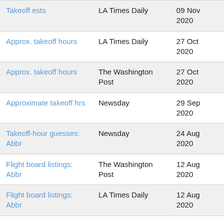| Takeoff ests | LA Times Daily | 09 Nov 2020 |
| Approx. takeoff hours | LA Times Daily | 27 Oct 2020 |
| Approx. takeoff hours | The Washington Post | 27 Oct 2020 |
| Approximate takeoff hrs | Newsday | 29 Sep 2020 |
| Takeoff-hour guesses: Abbr | Newsday | 24 Aug 2020 |
| Flight board listings: Abbr | The Washington Post | 12 Aug 2020 |
| Flight board listings: Abbr | LA Times Daily | 12 Aug 2020 |